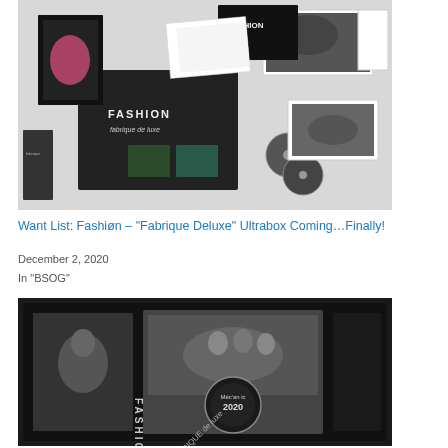[Figure (photo): A flat lay photo showing Fashion 'Fabrique de Luxe' ultrabox set contents including CD cases, booklets, photos, and memorabilia scattered on a white surface.]
Want List: Fashiøn – "Fabrique Deluxe" Ultrabox Coming…Finally!
December 2, 2020
In "BSOG"
[Figure (photo): A black foam-lined box containing a Fashion Fabrique de Luxe 2020 Mécanique collector's edition set, showing a disc/booklet with band photo and circular logo.]